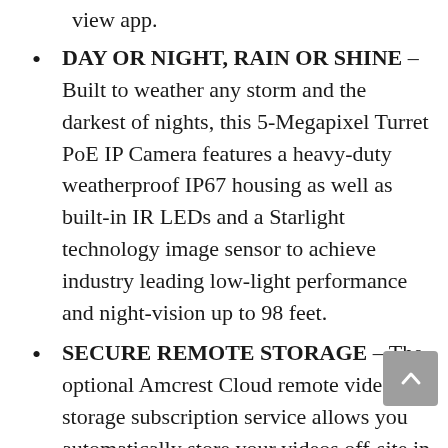view app.
DAY OR NIGHT, RAIN OR SHINE – Built to weather any storm and the darkest of nights, this 5-Megapixel Turret PoE IP Camera features a heavy-duty weatherproof IP67 housing as well as built-in IR LEDs and a Starlight technology image sensor to achieve industry leading low-light performance and night-vision up to 98 feet.
SECURE REMOTE STORAGE – The optional Amcrest Cloud remote video storage subscription service allows you automatically store your videos off-site in a third-party location hosted and secured by Amazon AWS.
SIMPLE, RELIABLE, SECURE – This